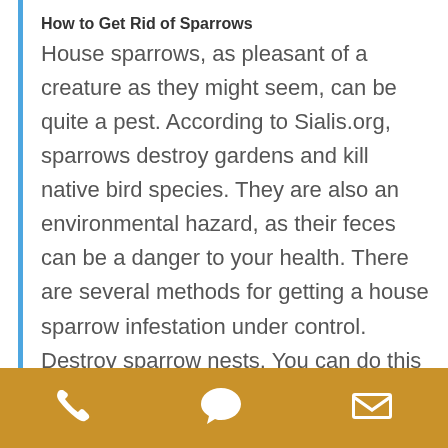How to Get Rid of Sparrows
House sparrows, as pleasant of a creature as they might seem, can be quite a pest. According to Sialis.org, sparrows destroy gardens and kill native bird species. They are also an environmental hazard, as their feces can be a danger to your health. There are several methods for getting a house sparrow infestation under control. Destroy sparrow nests. You can do this by...